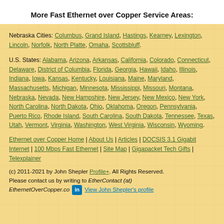More Fast Ethernet over Copper Service Areas:
Nebraska Cities: Columbus, Grand Island, Hastings, Kearney, Lexington, Lincoln, Norfolk, North Platte, Omaha, Scottsbluff.
U.S. States: Alabama, Arizona, Arkansas, California, Colorado, Connecticut, Delaware, District of Columbia, Florida, Georgia, Hawaii, Idaho, Illinois, Indiana, Iowa, Kansas, Kentucky, Louisiana, Maine, Maryland, Massachusetts, Michigan, Minnesota, Mississippi, Missouri, Montana, Nebraska, Nevada, New Hampshire, New Jersey, New Mexico, New York, North Carolina, North Dakota, Ohio, Oklahoma, Oregon, Pennsylvania, Puerto Rico, Rhode Island, South Carolina, South Dakota, Tennessee, Texas, Utah, Vermont, Virginia, Washington, West Virginia, Wisconsin, Wyoming.
Ethernet over Copper Home | About Us | Articles | DOCSIS 3.1 Gigabit Internet | 100 Mbps Fast Ethernet | Site Map | Gigapacket Tech Gifts | Telexplainer
(c) 2011-2021 by John Shepler Profile+. All Rights Reserved. Please contact us by writing to EtherContact (at) EthernetOverCopper.co [LinkedIn] View John Shepler's profile